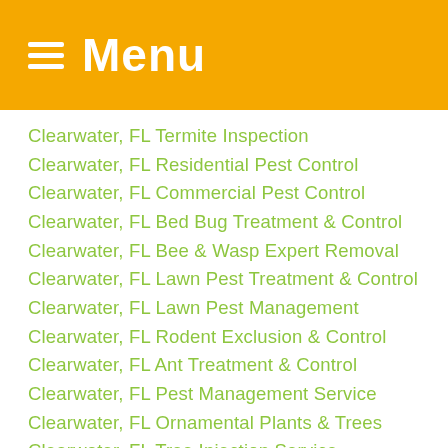Menu
Clearwater, FL Termite Inspection
Clearwater, FL Residential Pest Control
Clearwater, FL Commercial Pest Control
Clearwater, FL Bed Bug Treatment & Control
Clearwater, FL Bee & Wasp Expert Removal
Clearwater, FL Lawn Pest Treatment & Control
Clearwater, FL Lawn Pest Management
Clearwater, FL Rodent Exclusion & Control
Clearwater, FL Ant Treatment & Control
Clearwater, FL Pest Management Service
Clearwater, FL Ornamental Plants & Trees
Clearwater, FL Tree Injection Service
Clearwater, FL Weed Control Service
Clearwater, FL Hydretain Moisture Management
Clearwater, FL Invasive Grass